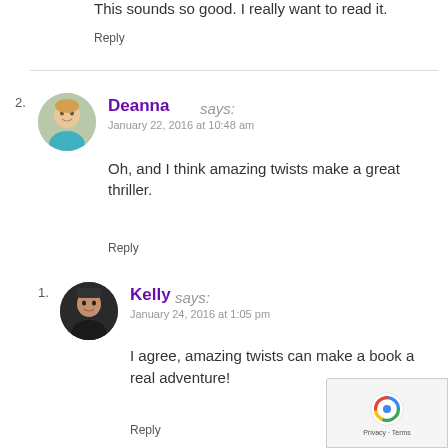This sounds so good. I really want to read it.
Reply
2. Deanna says: January 22, 2016 at 10:48 am
Oh, and I think amazing twists make a great thriller.
Reply
1. Kelly says: January 24, 2016 at 1:05 pm
I agree, amazing twists can make a book a real adventure!
Reply